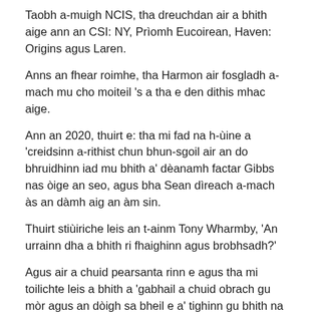Taobh a-muigh NCIS, tha dreuchdan air a bhith aige ann an CSI: NY, Prìomh Eucoirean, Haven: Origins agus Laren.
Anns an fhear roimhe, tha Harmon air fosgladh a-mach mu cho moiteil 's a tha e den dithis mhac aige.
Ann an 2020, thuirt e: tha mi fad na h-ùine a 'creidsinn a-rithist chun bhun-sgoil air an do bhruidhinn iad mu bhith a' dèanamh factar Gibbs nas òige an seo, agus bha Sean dìreach a-mach às an dàmh aig an àm sin.
Thuirt stiùiriche leis an t-ainm Tony Wharmby, 'An urrainn dha a bhith ri fhaighinn agus brobhsadh?'
Agus air a chuid pearsanta rinn e agus tha mi toilichte leis a bhith a 'gabhail a chuid obrach gu mòr agus an dòigh sa bheil e a' tighinn gu bhith na chleasaiche.
Chan ann dìreach air an taisbeanadh seo, [ach] dìreach na